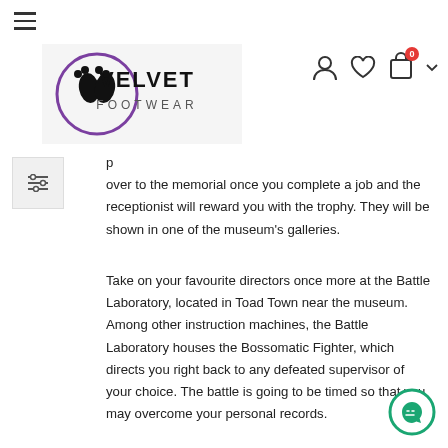[Figure (logo): Velvet Footwear logo with footprint icon in purple circle]
over to the memorial once you complete a job and the receptionist will reward you with the trophy. They will be shown in one of the museum's galleries.
Take on your favourite directors once more at the Battle Laboratory, located in Toad Town near the museum. Among other instruction machines, the Battle Laboratory houses the Bossomatic Fighter, which directs you right back to any defeated supervisor of your choice. The battle is going to be timed so that you may overcome your personal records.